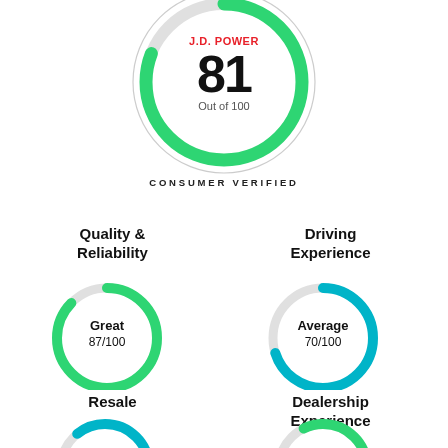[Figure (donut-chart): J.D. Power 81 Out of 100 Consumer Verified]
CONSUMER VERIFIED
Quality & Reliability
[Figure (donut-chart): Quality & Reliability - Great 87/100]
Driving Experience
[Figure (donut-chart): Driving Experience - Average 70/100]
Resale
Dealership Experience